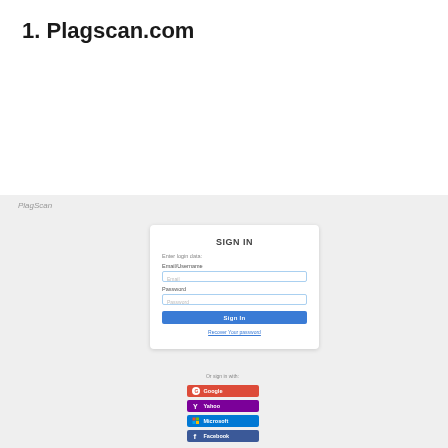1. Plagscan.com
[Figure (screenshot): Screenshot of Plagscan.com sign-in page showing a login form with Email/Username and Password fields, a Sign In button, a 'Recover Your Password' link, and social login buttons for Google, Yahoo, Microsoft, and Facebook on a light gray background.]